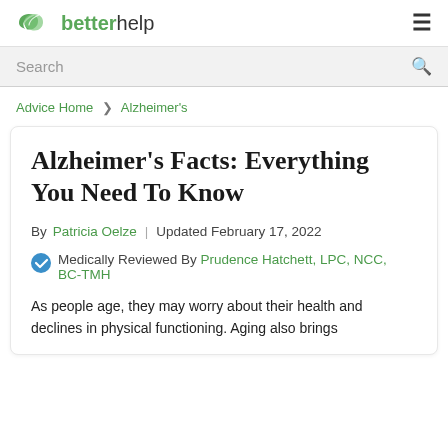betterhelp
Search
Advice Home > Alzheimer's
Alzheimer's Facts: Everything You Need To Know
By Patricia Oelze | Updated February 17, 2022
Medically Reviewed By Prudence Hatchett, LPC, NCC, BC-TMH
As people age, they may worry about their health and declines in physical functioning. Aging also brings